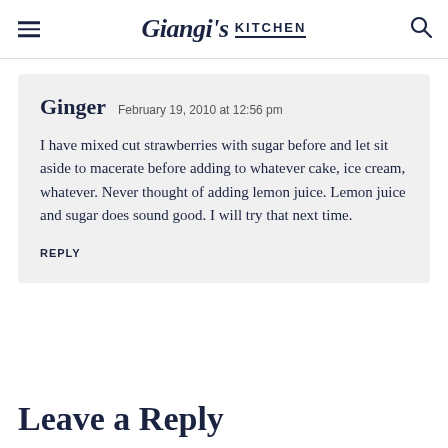Giangi's Kitchen
Ginger  February 19, 2010 at 12:56 pm

I have mixed cut strawberries with sugar before and let sit aside to macerate before adding to whatever cake, ice cream, whatever. Never thought of adding lemon juice. Lemon juice and sugar does sound good. I will try that next time.

REPLY
Leave a Reply